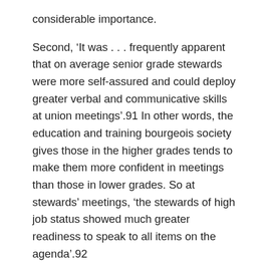considerable importance.
Second, 'It was . . . frequently apparent that on average senior grade stewards were more self-assured and could deploy greater verbal and communicative skills at union meetings'.91 In other words, the education and training bourgeois society gives those in the higher grades tends to make them more confident in meetings than those in lower grades. So at stewards' meetings, 'the stewards of high job status showed much greater readiness to speak to all items on the agenda'.92
A third reason can be deduced from the other study. Lower grade clerical workers have traditionally been women who have assumed that they will only be in employment for a few years before they leave to have children. They therefore have had less interest in